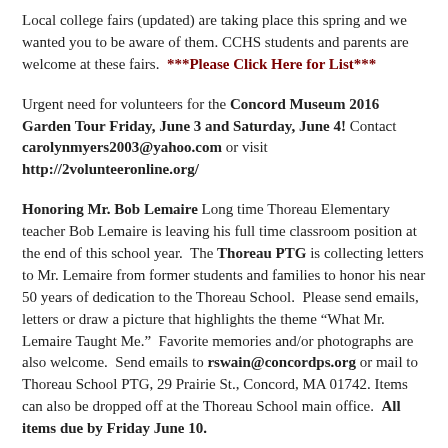Local college fairs (updated) are taking place this spring and we wanted you to be aware of them. CCHS students and parents are welcome at these fairs.  ***Please Click Here for List***
Urgent need for volunteers for the Concord Museum 2016 Garden Tour Friday, June 3 and Saturday, June 4! Contact carolynmyers2003@yahoo.com or visit http://2volunteeronline.org/
Honoring Mr. Bob Lemaire Long time Thoreau Elementary teacher Bob Lemaire is leaving his full time classroom position at the end of this school year. The Thoreau PTG is collecting letters to Mr. Lemaire from former students and families to honor his near 50 years of dedication to the Thoreau School. Please send emails, letters or draw a picture that highlights the theme “What Mr. Lemaire Taught Me.” Favorite memories and/or photographs are also welcome. Send emails to rswain@concordps.org or mail to Thoreau School PTG, 29 Prairie St., Concord, MA 01742. Items can also be dropped off at the Thoreau School main office. All items due by Friday June 10.